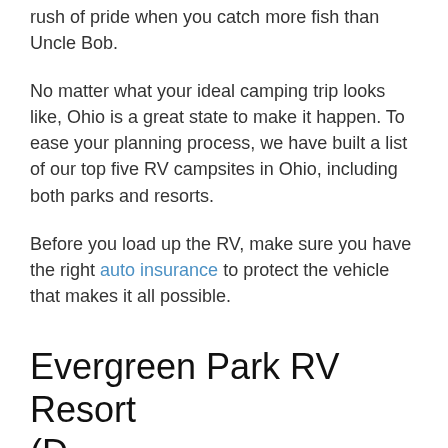rush of pride when you catch more fish than Uncle Bob.
No matter what your ideal camping trip looks like, Ohio is a great state to make it happen. To ease your planning process, we have built a list of our top five RV campsites in Ohio, including both parks and resorts.
Before you load up the RV, make sure you have the right auto insurance to protect the vehicle that makes it all possible.
Evergreen Park RV Resort (D...  Oh)